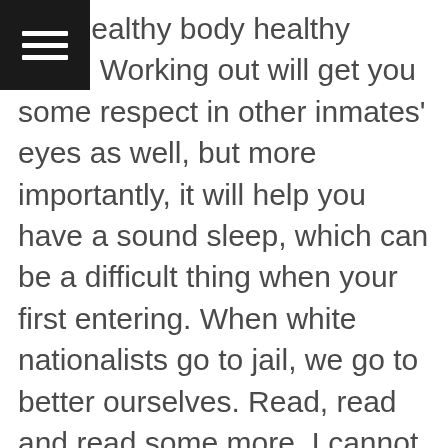[Figure (other): Hamburger menu icon (three white horizontal lines on black square background) in top-left corner]
s, a healthy body healthy mind. Working out will get you some respect in other inmates' eyes as well, but more importantly, it will help you have a sound sleep, which can be a difficult thing when your first entering. When white nationalists go to jail, we go to better ourselves. Read, read and read some more. I cannot say enough how much a good book meant to me inside. It is an escape from the cage those bastards